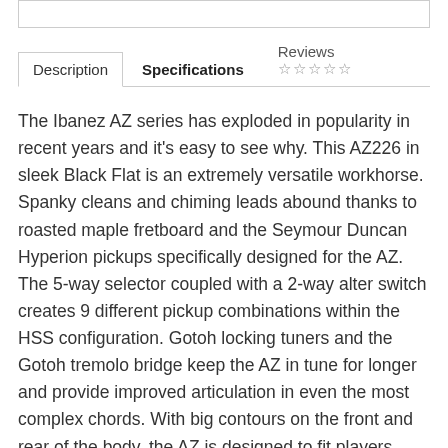Description | Specifications | Reviews ☆☆☆☆☆
The Ibanez AZ series has exploded in popularity in recent years and it's easy to see why. This AZ226 in sleek Black Flat is an extremely versatile workhorse. Spanky cleans and chiming leads abound thanks to roasted maple fretboard and the Seymour Duncan Hyperion pickups specifically designed for the AZ. The 5-way selector coupled with a 2-way alter switch creates 9 different pickup combinations within the HSS configuration. Gotoh locking tuners and the Gotoh tremolo bridge keep the AZ in tune for longer and provide improved articulation in even the most complex chords. With big contours on the front and rear of the body, the AZ is designed to fit players naturally in both